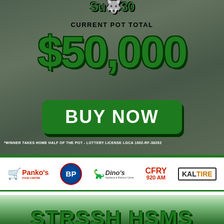Su30
CURRENT POT TOTAL
$50,000
BUY NOW
*WINNER TAKES HOME HALF OF THE POT - LOTTERY LICENSE LGCA 1002-RF-38202
[Figure (logo): Sponsor logos: Panko's Food Centre, BP, Dino's Appliance & Mattress Centre, CFRY 920 AM, KAL TIRE]
[Figure (photo): Green smoky hockey rink background with partial text at bottom]